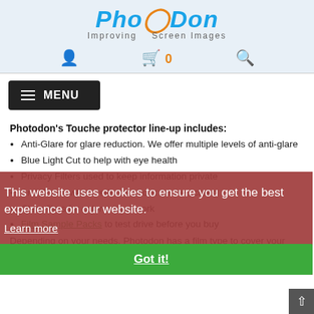[Figure (logo): PhotoDon logo with tagline 'Improving Screen Images' on light blue background]
Navigation icons: user account, shopping cart (0), search
[Figure (screenshot): Dark MENU button with hamburger icon]
Photodon's Touche protector line-up includes:
Anti-Glare for glare reduction. We offer multiple levels of anti-glare
Blue Light Cut to help with eye health
Privacy Filters used to keep information private
Anti-Shock which reduces shock on the screen
Clear films for color critical work
Film Sample Packs to test drive before you buy
Depending on your needs, Photodon has a film type to cover your device's screen. If unsure about which material is best for you, we have a chart that breaks it
[Figure (screenshot): Cookie consent overlay: 'This website uses cookies to ensure you get the best experience on our website.' with Learn more link and Got it! button]